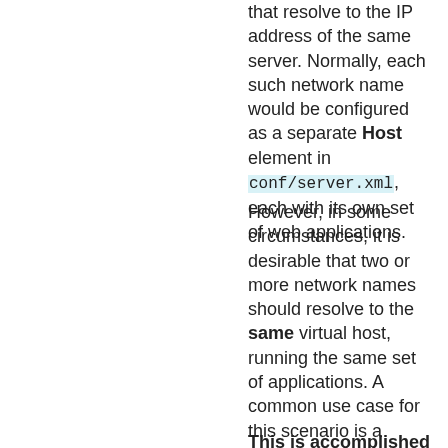that resolve to the IP address of the same server. Normally, each such network name would be configured as a separate Host element in conf/server.xml, each with its own set of web applications.
However, in some circumstances, it is desirable that two or more network names should resolve to the same virtual host, running the same set of applications. A common use case for this scenario is a corporate web site, where it is desirable that users be able to utilize either www.mycompany.com or company.com to access exactly the same content and applications.
This is accomplished by